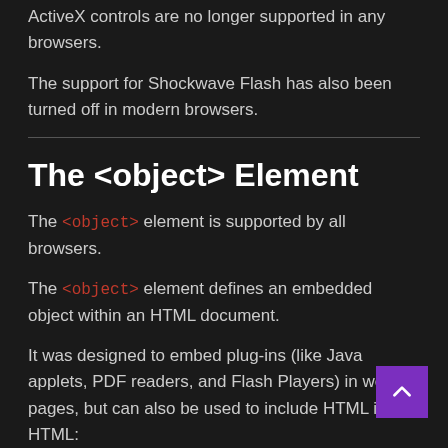ActiveX controls are no longer supported in any browsers.
The support for Shockwave Flash has also been turned off in modern browsers.
The <object> Element
The <object> element is supported by all browsers.
The <object> element defines an embedded object within an HTML document.
It was designed to embed plug-ins (like Java applets, PDF readers, and Flash Players) in web pages, but can also be used to include HTML in HTML:
Example